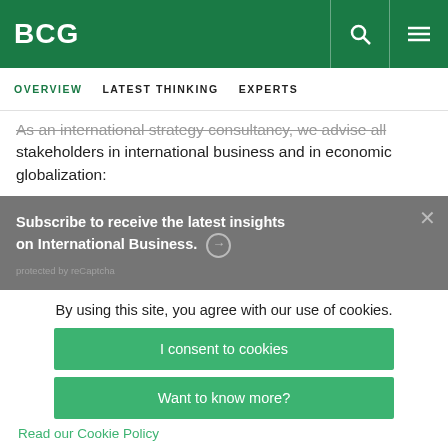BCG
OVERVIEW   LATEST THINKING   EXPERTS
As an international strategy consultancy, we advise all stakeholders in international business and in economic globalization:
Subscribe to receive the latest insights on International Business. → protected by reCaptcha
By using this site, you agree with our use of cookies.
I consent to cookies
Want to know more?
Read our Cookie Policy